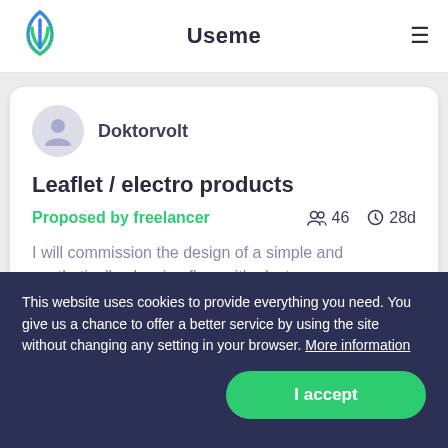Useme
Doktorvolt
Leaflet / electro products
Proposed by freelancer  46  28d
I will commission the design of a simple and aesthetically pleasing flyer with electro... products. Price to be agreed.
This website uses cookies to provide everything you need. You give us a chance to offer a better service by using the site without changing any setting in your browser. More information
I accept